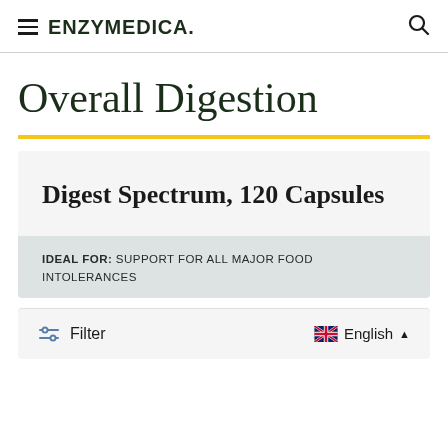≡ ENZYMEDICA. 🔍
Overall Digestion
Digest Spectrum, 120 Capsules
IDEAL FOR: SUPPORT FOR ALL MAJOR FOOD INTOLERANCES
Filter   English ∧